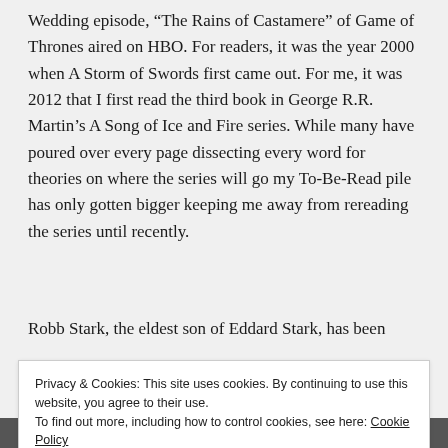Wedding episode, “The Rains of Castamere” of Game of Thrones aired on HBO. For readers, it was the year 2000 when A Storm of Swords first came out. For me, it was 2012 that I first read the third book in George R.R. Martin’s A Song of Ice and Fire series. While many have poured over every page dissecting every word for theories on where the series will go my To-Be-Read pile has only gotten bigger keeping me away from rereading the series until recently.
Robb Stark, the eldest son of Eddard Stark, has been
Privacy & Cookies: This site uses cookies. By continuing to use this website, you agree to their use.
To find out more, including how to control cookies, see here: Cookie Policy